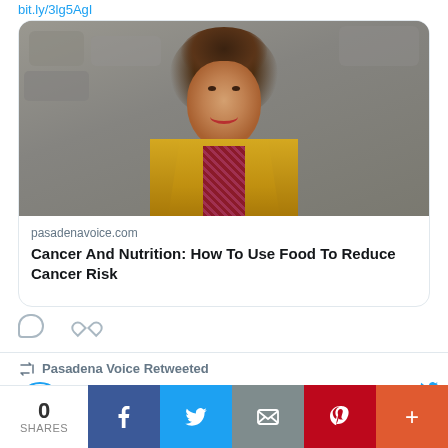bit.ly/3lg5AgI
[Figure (photo): Portrait photo of a middle-aged woman with brown hair, wearing a yellow jacket and patterned blouse, smiling, in front of a stone wall background.]
pasadenavoice.com
Cancer And Nutrition: How To Use Food To Reduce Cancer Risk
Pasadena Voice Retweeted
AACPS @AACountySchools · Jan 28
10:30 a.m., 1/28/22: Due to forecast for
0 SHARES  [Facebook] [Twitter] [Email] [Pinterest] [More]